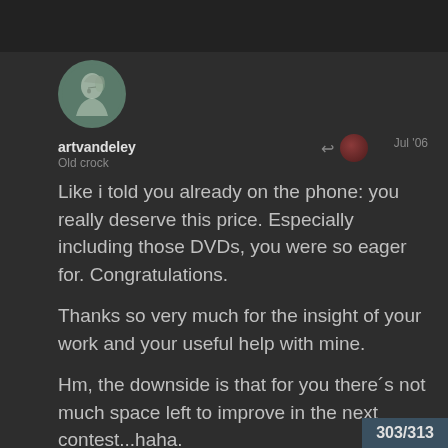[Figure (illustration): Circular avatar showing a pencil-sketch silhouette of a person's profile/head in teal/green tones]
artvandeley
Old crock
Jul '06
Like i told you already on the phone: you really deserve this price. Especially including those DVDs, you were so eager for. Congratulations.

Thanks so very much for the insight of your work and your useful help with mine.

Hm, the downside is that for you there´s not much space left to improve in the next contest...haha.

Nee, bin nur neidisch 🙂slight_
303/313